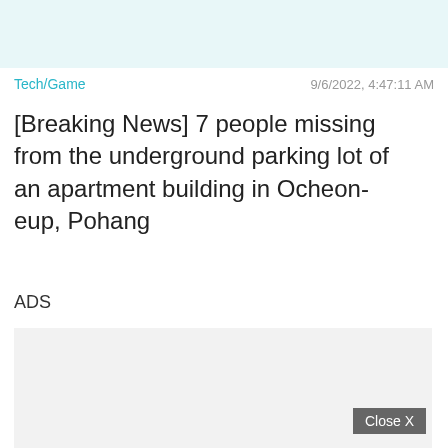[Figure (other): Light teal/cyan colored banner strip at top of page]
Tech/Game
9/6/2022, 4:47:11 AM
[Breaking News] 7 people missing from the underground parking lot of an apartment building in Ocheon-eup, Pohang
ADS
[Figure (other): Advertisement placeholder box with a Close X button in the bottom right corner]